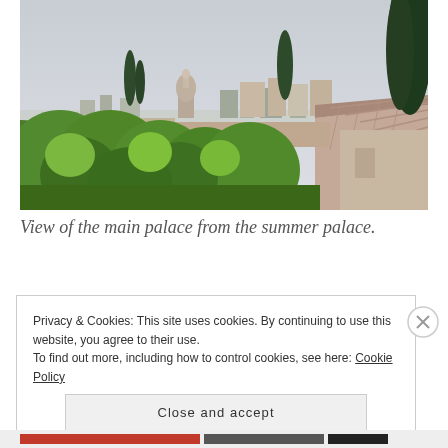[Figure (photo): Panoramic view of a historic palace complex with terracotta-roofed buildings, cypress trees, and a domed church tower, set against a cloudy grey sky. Lush green trees fill the foreground and middle ground.]
View of the main palace from the summer palace.
Privacy & Cookies: This site uses cookies. By continuing to use this website, you agree to their use.
To find out more, including how to control cookies, see here: Cookie Policy
Close and accept